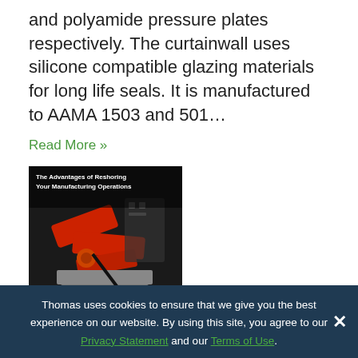and polyamide pressure plates respectively. The curtainwall uses silicone compatible glazing materials for long life seals. It is manufactured to AAMA 1503 and 501...
Read More »
[Figure (photo): Advertisement image showing industrial robotic arm machinery with MD logo overlay. Title text reads: The Advantages of Reshoring Your Manufacturing Operations]
Sponsored
The Advantages of Reshoring Your Manufacturing Operations
Thomas uses cookies to ensure that we give you the best experience on our website. By using this site, you agree to our Privacy Statement and our Terms of Use.